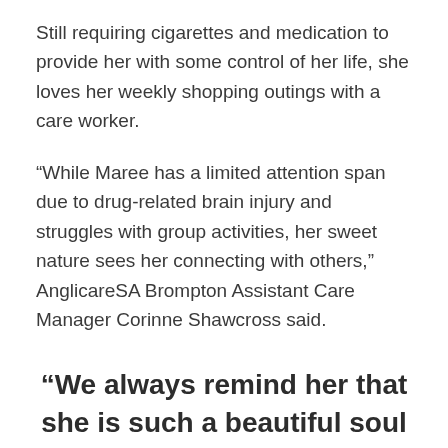Still requiring cigarettes and medication to provide her with some control of her life, she loves her weekly shopping outings with a care worker.
“While Maree has a limited attention span due to drug-related brain injury and struggles with group activities, her sweet nature sees her connecting with others,” AnglicareSA Brompton Assistant Care Manager Corinne Shawcross said.
“We always remind her that she is such a beautiful soul and how lucky we are to have her as